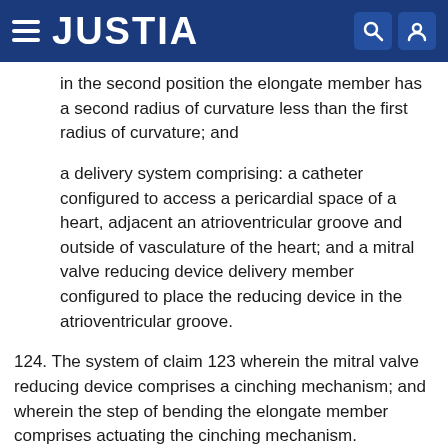JUSTIA
in the second position the elongate member has a second radius of curvature less than the first radius of curvature; and
a delivery system comprising: a catheter configured to access a pericardial space of a heart, adjacent an atrioventricular groove and outside of vasculature of the heart; and a mitral valve reducing device delivery member configured to place the reducing device in the atrioventricular groove.
124. The system of claim 123 wherein the mitral valve reducing device comprises a cinching mechanism; and wherein the step of bending the elongate member comprises actuating the cinching mechanism.
125. The system of claim 123 wherein the mitral valve